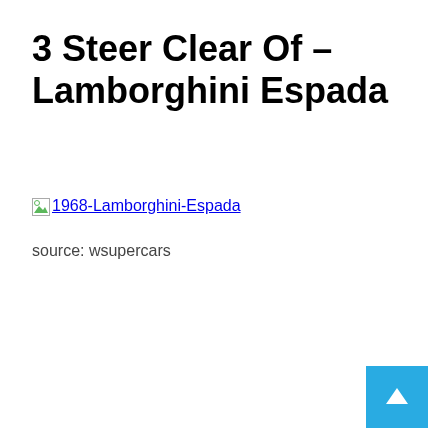3 Steer Clear Of – Lamborghini Espada
[Figure (other): Broken image placeholder with alt text '1968-Lamborghini-Espada' and source credit 'wsupercars']
source: wsupercars